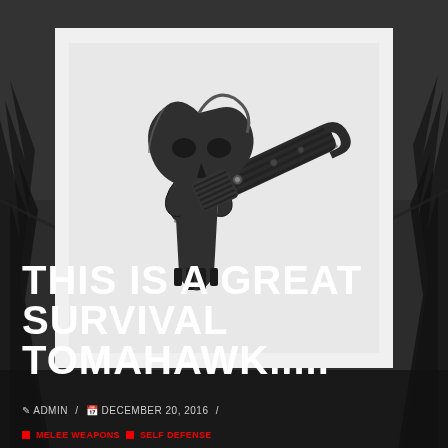[Figure (photo): A black tactical survival tomahawk axe with a skull-shaped blade head, ridged handle grip, and hook at the bottom end, photographed on a light gray background.]
THIS IS A GREAT SURVIVAL TOMAHAWK.....
✏ ADMIN / 📅 DECEMBER 20, 2016 /
■ MELEE WEAPONS ■ SELF DEFENSE